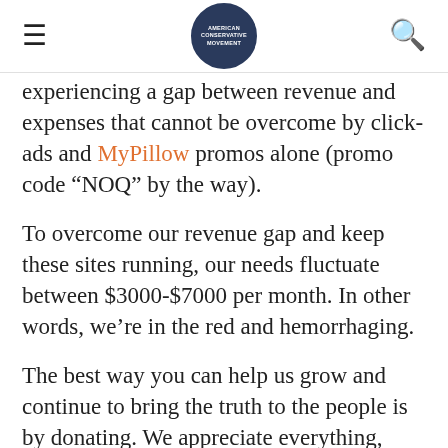NOQ REPORT (logo)
experiencing a gap between revenue and expenses that cannot be overcome by click-ads and MyPillow promos alone (promo code “NOQ” by the way).
To overcome our revenue gap and keep these sites running, our needs fluctuate between $3000-$7000 per month. In other words, we’re in the red and hemorrhaging.
The best way you can help us grow and continue to bring the truth to the people is by donating. We appreciate everything, whether a dollar or $10,000. Anything brings us closer to a point of stability when